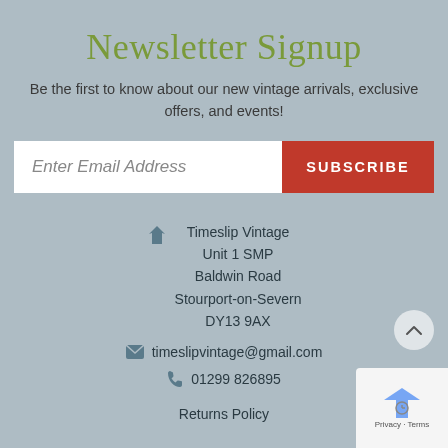Newsletter Signup
Be the first to know about our new vintage arrivals, exclusive offers, and events!
Enter Email Address  SUBSCRIBE
Timeslip Vintage
Unit 1 SMP
Baldwin Road
Stourport-on-Severn
DY13 9AX
timeslipvintage@gmail.com
01299 826895
Returns Policy